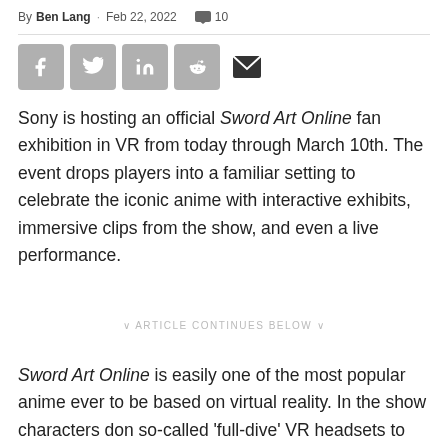By Ben Lang · Feb 22, 2022  💬 10
[Figure (other): Social share buttons: Facebook, Twitter, LinkedIn, Reddit, Email]
Sony is hosting an official Sword Art Online fan exhibition in VR from today through March 10th. The event drops players into a familiar setting to celebrate the iconic anime with interactive exhibits, immersive clips from the show, and even a live performance.
∨ ARTICLE CONTINUES BELOW ∨
Sword Art Online is easily one of the most popular anime ever to be based on virtual reality. In the show characters don so-called 'full-dive' VR headsets to join a VR MMORPG